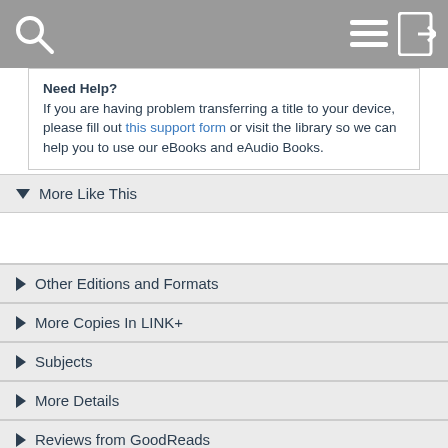Header navigation bar with search and menu icons
Need Help?
If you are having problem transferring a title to your device, please fill out this support form or visit the library so we can help you to use our eBooks and eAudio Books.
▼ More Like This
► Other Editions and Formats
► More Copies In LINK+
► Subjects
► More Details
► Reviews from GoodReads
► Citations
► Copy Details